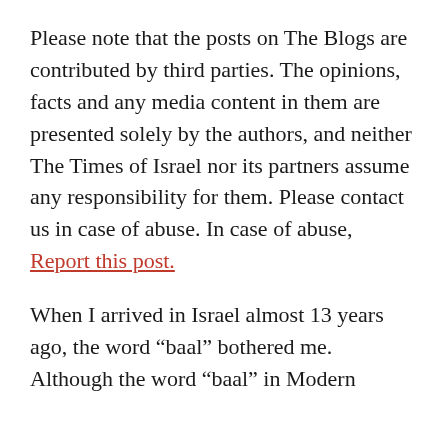Please note that the posts on The Blogs are contributed by third parties. The opinions, facts and any media content in them are presented solely by the authors, and neither The Times of Israel nor its partners assume any responsibility for them. Please contact us in case of abuse. In case of abuse, Report this post.
When I arrived in Israel almost 13 years ago, the word “baal” bothered me. Although the word “baal” in Modern